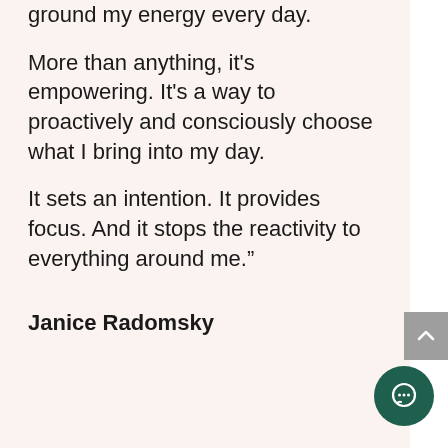ground my energy every day.
More than anything, it's empowering. It's a way to proactively and consciously choose what I bring into my day.
It sets an intention. It provides focus. And it stops the reactivity to everything around me.”
Janice Radomsky